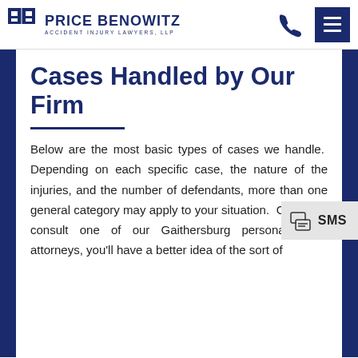Price Benowitz Accident Injury Lawyers, LLP
Cases Handled by Our Firm
Below are the most basic types of cases we handle.  Depending on each specific case, the nature of the injuries, and the number of defendants, more than one general category may apply to your situation.  Once you consult one of our Gaithersburg personal injury attorneys, you'll have a better idea of the sort of